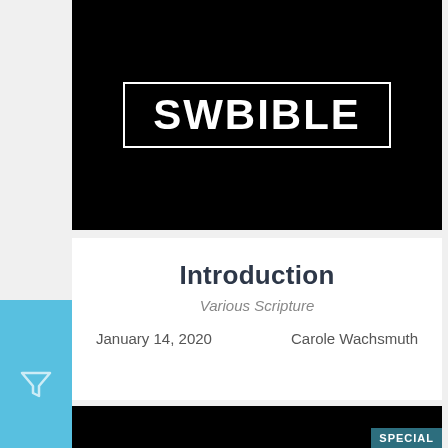[Figure (logo): SWBIBLE logo: white text on black background inside a rectangular border]
Introduction
Various Scripture
January 14, 2020    Carole Wachsmuth
[Figure (other): Partial black card at bottom with SPECIAL badge in teal]